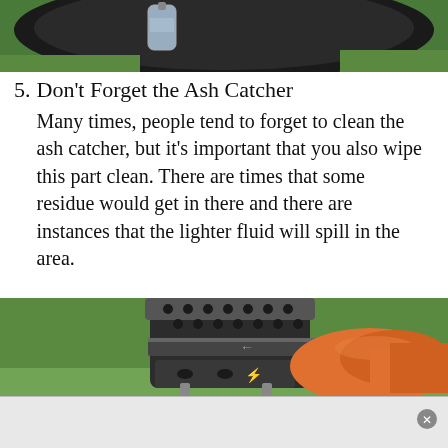[Figure (photo): Top portion of a grill with a plastic bottle of lighter fluid and grass visible in the background]
5. Don't Forget the Ash Catcher
Many times, people tend to forget to clean the ash catcher, but it's important that you also wipe this part clean. There are times that some residue would get in there and there are instances that the lighter fluid will spill in the area.
[Figure (photo): Close-up of a charcoal grill ash catcher with a person wearing an orange glove adjusting or cleaning the vent mechanism, green grass in background]